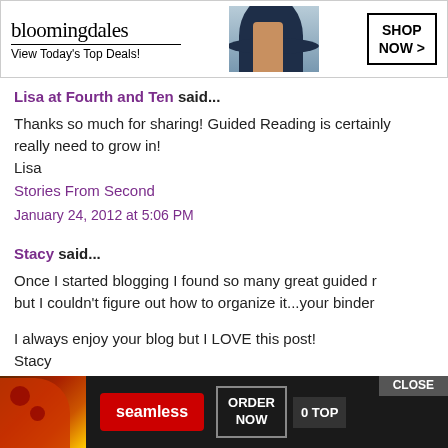[Figure (screenshot): Bloomingdale's advertisement banner: logo with text 'View Today's Top Deals!', a woman with a wide-brim hat, and a 'SHOP NOW >' button]
Lisa at Fourth and Ten said...
Thanks so much for sharing! Guided Reading is certainly really need to grow in!
Lisa
Stories From Second
January 24, 2012 at 5:06 PM
Stacy said...
Once I started blogging I found so many great guided r... but I couldn't figure out how to organize it...your binder...
I always enjoy your blog but I LOVE this post!
Stacy
[Figure (screenshot): Seamless food delivery advertisement with pizza image, seamless logo, ORDER NOW button, 0 TOP button, and CLOSE button]